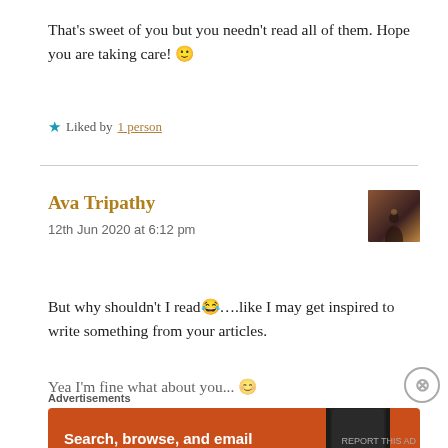That's sweet of you but you needn't read all of them. Hope you are taking care! 🙂
★ Liked by 1 person
Ava Tripathy
12th Jun 2020 at 6:12 pm
[Figure (photo): Small avatar thumbnail showing a silhouette figure against a warm-toned background]
But why shouldn't I read😂….like I may get inspired to write something from your articles.
Yea I'm fine what about you... 😊
Advertisements
[Figure (infographic): DuckDuckGo advertisement banner with orange background. Text: Search, browse, and email with more privacy. All in One Free App. Shows DuckDuckGo logo and phone graphic.]